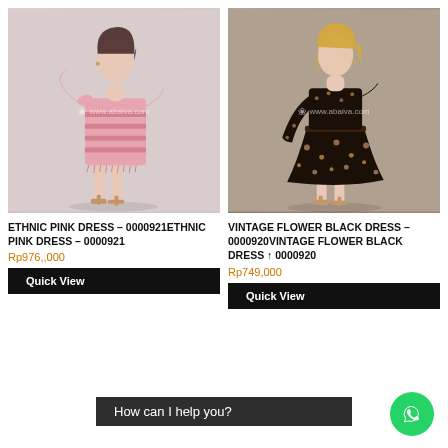[Figure (photo): Woman wearing a pink tweed fringe mini dress with shoulder bow ties, posing in heels against a light grey background. Watermark: www.abaiva.com]
ETHNIC PINK DRESS – 0000921ETHNIC PINK DRESS – 0000921
Rp976,,000
Quick View
[Figure (photo): Woman wearing a vintage black floral midi dress with one long sleeve and one short sleeve, posing in heels against a light grey background. Watermark: www.abaiva.com]
VINTAGE FLOWER BLACK DRESS – 0000920VINTAGE FLOWER BLACK DRESS – 0000920
Rp749,000
Quick View
How can I help you?